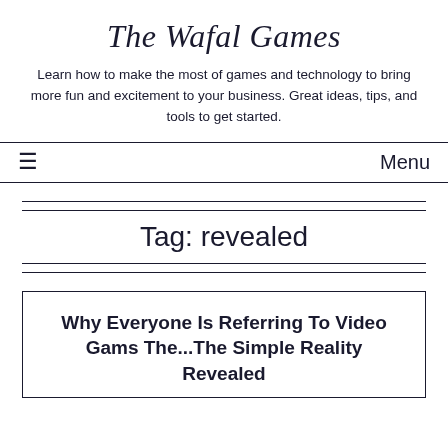The Wafal Games
Learn how to make the most of games and technology to bring more fun and excitement to your business. Great ideas, tips, and tools to get started.
≡  Menu
Tag: revealed
Why Everyone Is Referring To Video Gams The...The Simple Reality Revealed